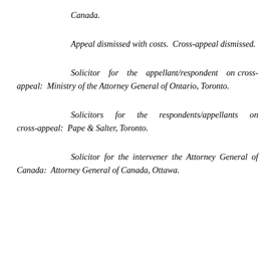Canada.
Appeal dismissed with costs.  Cross-appeal dismissed.
Solicitor for the appellant/respondent on cross-appeal:  Ministry of the Attorney General of Ontario, Toronto.
Solicitors for the respondents/appellants on cross-appeal:  Pape & Salter, Toronto.
Solicitor for the intervener the Attorney General of Canada:  Attorney General of Canada, Ottawa.